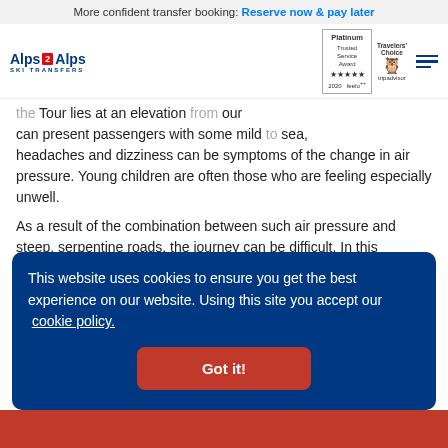More confident transfer booking: Reserve now & pay later
[Figure (logo): Alps 2 Alps Ski Transfers logo with Platinum Trusted Service Award (feefo 2020) and Tripadvisor Travellers' Choice badges, plus hamburger menu icon]
the Tour lies at an elevation from our can present passengers with some mild to sea, headaches and dizziness can be symptoms of the change in air pressure. Young children are often those who are feeling especially unwell.
As a result of the combination between such air pressure and steep, serpentine roads, the journey can be difficult. In this situation, ask your driver to lower the temperature in the vehicle to help you feel more comfortable.
This website uses cookies to ensure you get the best experience on our website. Using this site you accept our cookie policy.
Got it!